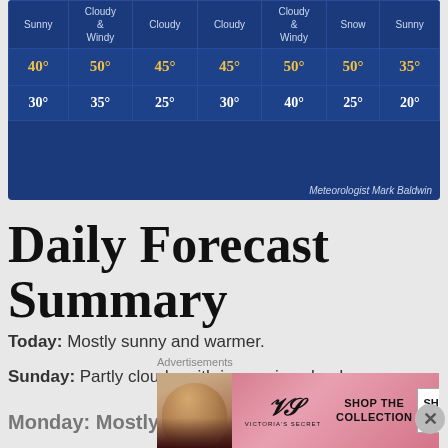[Figure (table-as-image): 7-day weather forecast table with high and low temperatures. Conditions include Sunny, Cloudy & Windy, Cloudy, Partly Cloudy & Windy, Snow, Sunny. Highs: 40°, 50°, 45°, 45°, 50°, 50°, 35°. Lows: 30°, 35°, 25°, 30°, 40°, 25°, 20°. Credit: Meteorologist Mark Baldwin.]
Daily Forecast Summary
Today: Mostly sunny and warmer.
Sunday: Partly cloudy, with increasing clouds.
Monday: Mostly cloudy...
Advertisements
[Figure (photo): Victoria's Secret advertisement banner: woman's face, VS logo, 'SHOP THE COLLECTION', 'SHOP NOW' button.]